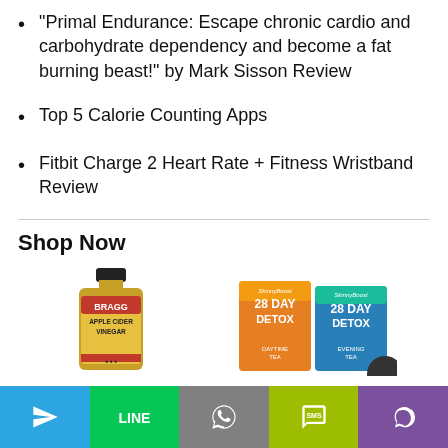“Primal Endurance: Escape chronic cardio and carbohydrate dependency and become a fat burning beast!” by Mark Sisson Review
Top 5 Calorie Counting Apps
Fitbit Charge 2 Heart Rate + Fitness Wristband Review
Shop Now
[Figure (photo): Bragg Apple Cider Vinegar bottle and SkinnyBoost 28 Day Detox tea packages]
[Figure (screenshot): Bottom navigation bar with Telegram, LINE, WhatsApp, SMS, and Viber buttons]